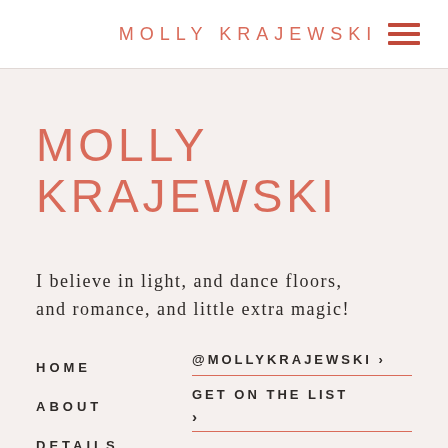MOLLY KRAJEWSKI
MOLLY KRAJEWSKI
I believe in light, and dance floors, and romance, and little extra magic!
HOME
ABOUT
DETAILS
@MOLLYKRAJEWSKI >
GET ON THE LIST >